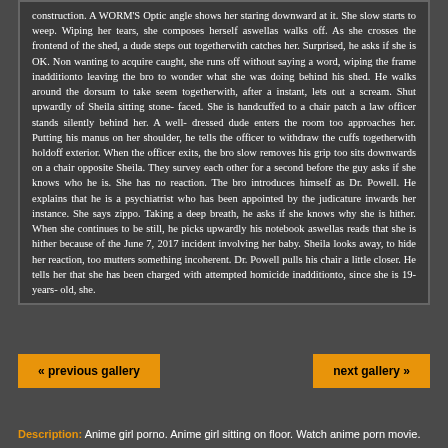construction. A WORM'S Optic angle shows her staring downward at it. She slow starts to weep. Wiping her tears, she composes herself aswellas walks off. As she crosses the frontend of the shed, a dude steps out togetherwith catches her. Surprised, he asks if she is OK. Non wanting to acquire caught, she runs off without saying a word, wiping the frame inadditionto leaving the bro to wonder what she was doing behind his shed. He walks around the dorsum to take seem togetherwith, after a instant, lets out a scream. Shut upwardly of Sheila sitting stone- faced. She is handcuffed to a chair patch a law officer stands silently behind her. A well- dressed dude enters the room too approaches her. Putting his manus on her shoulder, he tells the officer to withdraw the cuffs togetherwith holdoff exterior. When the officer exits, the bro slow removes his grip too sits downwards on a chair opposite Sheila. They survey each other for a second before the guy asks if she knows who he is. She has no reaction. The bro introduces himself as Dr. Powell. He explains that he is a psychiatrist who has been appointed by the judicature inwards her instance. She says zippo. Taking a deep breath, he asks if she knows why she is hither. When she continues to be still, he picks upwardly his notebook aswellas reads that she is hither because of the June 7, 2017 incident involving her baby. Sheila looks away, to hide her reaction, too mutters something incoherent. Dr. Powell pulls his chair a little closer. He tells her that she has been charged with attempted homicide inadditionto, since she is 19- years- old, she.
« previous gallery
next gallery »
Description: Anime girl porno. Anime girl sitting on floor. Watch anime porn movie.